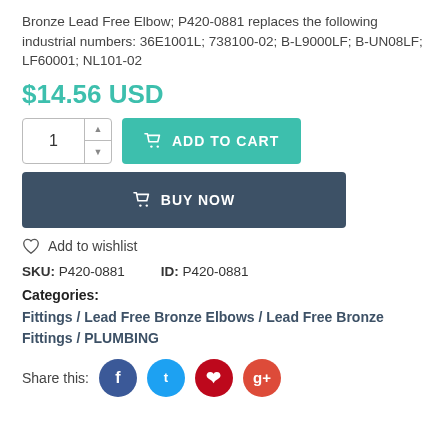Bronze Lead Free Elbow; P420-0881 replaces the following industrial numbers: 36E1001L; 738100-02; B-L9000LF; B-UN08LF; LF60001; NL101-02
$14.56 USD
1 ADD TO CART
BUY NOW
Add to wishlist
SKU: P420-0881    ID: P420-0881
Categories:
Fittings / Lead Free Bronze Elbows / Lead Free Bronze Fittings / PLUMBING
Share this: